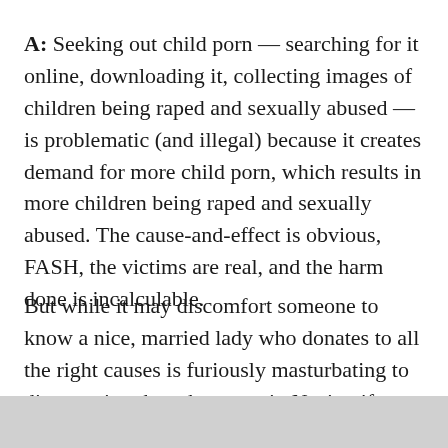A: Seeking out child porn — searching for it online, downloading it, collecting images of children being raped and sexually abused — is problematic (and illegal) because it creates demand for more child porn, which results in more children being raped and sexually abused. The cause-and-effect is obvious, FASH, the victims are real, and the harm done is incalculable.
But while it may discomfort someone to know a nice, married lady who donates to all the right causes is furiously masturbating to dirty stories about hot guys in Nazi uniforms doing each other, FASH, no one ever